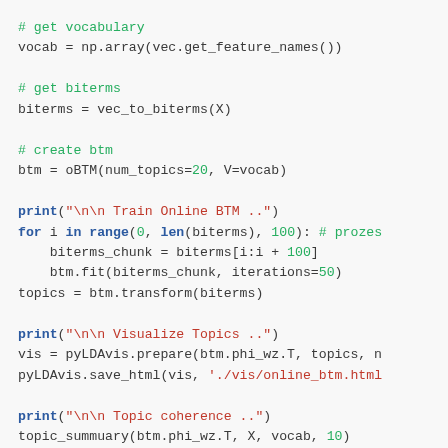[Figure (screenshot): Python code snippet showing biterm topic model (BTM) training, visualization, topic coherence, and topic listing using pyLDAvis and oBTM libraries. Code includes comments, print statements with string arguments, loops, and function calls with keyword arguments.]